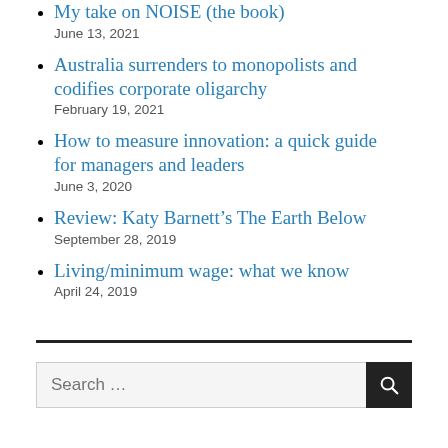My take on NOISE (the book)
June 13, 2021
Australia surrenders to monopolists and codifies corporate oligarchy
February 19, 2021
How to measure innovation: a quick guide for managers and leaders
June 3, 2020
Review: Katy Barnett’s The Earth Below
September 28, 2019
Living/minimum wage: what we know
April 24, 2019
Search …